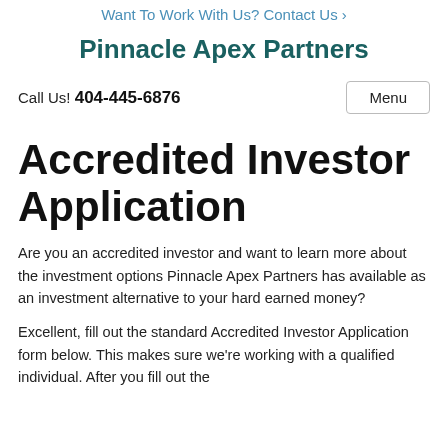Want To Work With Us? Contact Us ›
Pinnacle Apex Partners
Call Us! 404-445-6876
Accredited Investor Application
Are you an accredited investor and want to learn more about the investment options Pinnacle Apex Partners has available as an investment alternative to your hard earned money?
Excellent, fill out the standard Accredited Investor Application form below. This makes sure we're working with a qualified individual. After you fill out the